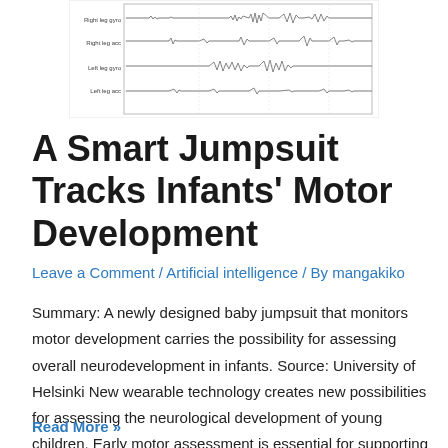[Figure (other): EEG/movement sensor waveform traces from a baby jumpsuit sensor, showing multiple channels: Right leg gyro, Right leg acc, Left leg gyro, Left leg acc]
A Smart Jumpsuit Tracks Infants' Motor Development
Leave a Comment / Artificial intelligence / By mangakiko
Summary: A newly designed baby jumpsuit that monitors motor development carries the possibility for assessing overall neurodevelopment in infants. Source: University of Helsinki New wearable technology creates new possibilities for assessing the neurological development of young children. Early motor assessment is essential for supporting the early detection of neurodevelopmental problems and their therapeutic interventions. A …
Read More »